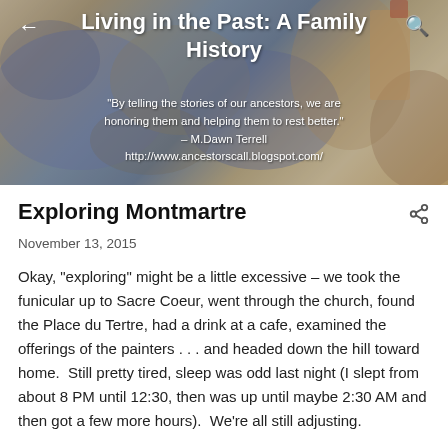[Figure (photo): Blog header banner with watercolor painting background showing landscape with castle/tower, overlaid with blog title and quote text]
Living in the Past: A Family History
"By telling the stories of our ancestors, we are honoring them and helping them to rest better." – M.Dawn Terrell
http://www.ancestorscall.blogspot.com/
Exploring Montmartre
November 13, 2015
Okay, "exploring" might be a little excessive – we took the funicular up to Sacre Coeur, went through the church, found the Place du Tertre, had a drink at a cafe, examined the offerings of the painters . . . and headed down the hill toward home.  Still pretty tired, sleep was odd last night (I slept from about 8 PM until 12:30, then was up until maybe 2:30 AM and then got a few more hours).  We're all still adjusting.